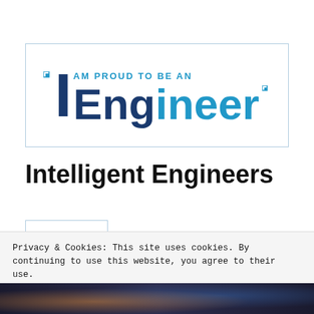[Figure (logo): I AM PROUD TO BE AN IEngineer logo in a bordered rectangle. Large dark blue 'I' followed by 'Engineer' text where 'Eng' is dark blue and 'ineer' is cyan/light blue. Tagline 'AM PROUD TO BE AN' in cyan above.]
Intelligent Engineers
...
Privacy & Cookies: This site uses cookies. By continuing to use this website, you agree to their use.
To find out more, including how to control cookies, see here: Cookie Policy
Close and accept
[Figure (photo): Dark bokeh photo strip at the bottom showing blurred city lights]